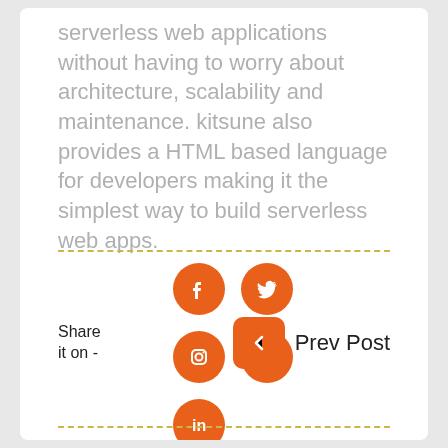serverless web applications without having to worry about architecture, scalability and maintenance. kitsune also provides a HTML based language for developers making it the simplest way to build serverless web apps.
[Figure (infographic): Social share section with orange circular icons for Facebook, Twitter, Instagram, Pinterest, LinkedIn, a 'Share it on -' label, and a Prev Post button with orange left-arrow rounded square.]